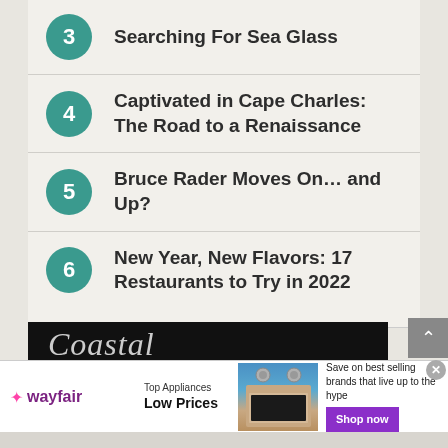3 Searching For Sea Glass
4 Captivated in Cape Charles: The Road to a Renaissance
5 Bruce Rader Moves On… and Up?
6 New Year, New Flavors: 17 Restaurants to Try in 2022
[Figure (screenshot): Partial black banner showing beginning of the word 'Coastal' in italic serif font]
[Figure (infographic): Wayfair advertisement banner: Top Appliances Low Prices, image of stove, Save on best selling brands that live up to the hype, Shop now button]